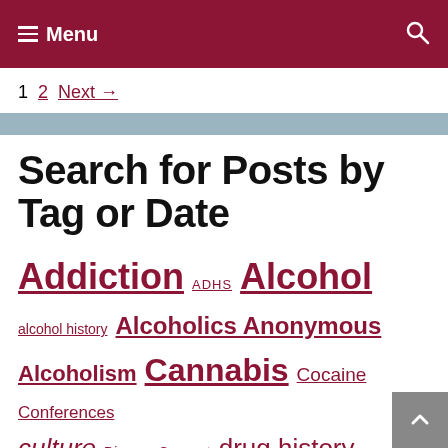Menu
1  2  Next →
Search for Posts by Tag or Date
Addiction  ADHS  Alcohol  alcohol history  Alcoholics Anonymous  Alcoholism  Cannabis  Cocaine  Conferences  culture  Disease Concept  drug history  Drug Policy  Drugs  drug war  gender  History